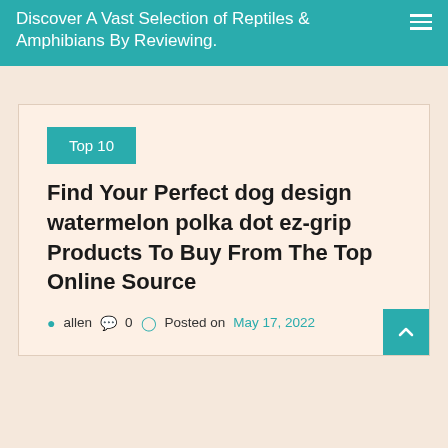Discover A Vast Selection of Reptiles & Amphibians By Reviewing.
Find Your Perfect dog design watermelon polka dot ez-grip Products To Buy From The Top Online Source
Top 10
allen  0  Posted on May 17, 2022